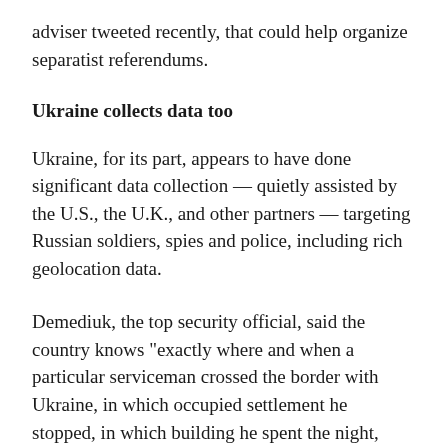adviser tweeted recently, that could help organize separatist referendums.
Ukraine collects data too
Ukraine, for its part, appears to have done significant data collection — quietly assisted by the U.S., the U.K., and other partners — targeting Russian soldiers, spies and police, including rich geolocation data.
Demediuk, the top security official, said the country knows "exactly where and when a particular serviceman crossed the border with Ukraine, in which occupied settlement he stopped, in which building he spent the night, stole and committed crimes on our land."
"We know their cell phone numbers, the names of